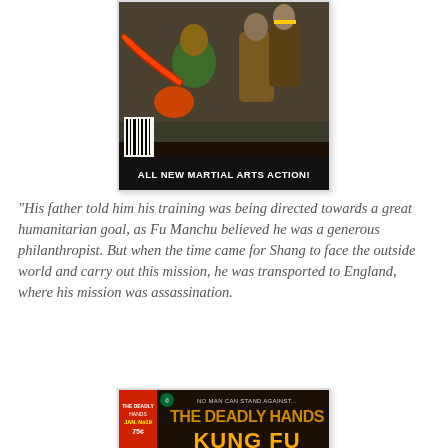[Figure (illustration): Comic book cover showing martial arts characters fighting; green-clad fighter with red energy fist in foreground, other fighters in background. Bottom banner reads 'ALL NEW MARTIAL ARTS ACTION!']
"His father told him his training was being directed towards a great humanitarian goal, as Fu Manchu believed he was a generous philanthropist. But when the time came for Shang to face the outside world and carry out this mission, he was transported to England, where his mission was assassination.
[Figure (illustration): Comic book cover for 'The Deadly Hands of Kung Fu' with text 'NO MAN CAN STAND AGAINST...' at top]